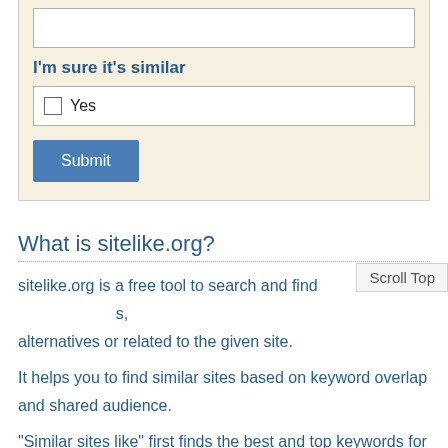[Figure (screenshot): Web form with a text input field, a label 'I'm sure it's similar', a checkbox row with 'Yes', and a Submit button on a beige background.]
What is sitelike.org?
sitelike.org is a free tool to search and find   Scroll Top   s, alternatives or related to the given site.
It helps you to find similar sites based on keyword overlap and shared audience.
"Similar sites like" first finds the best and top keywords for